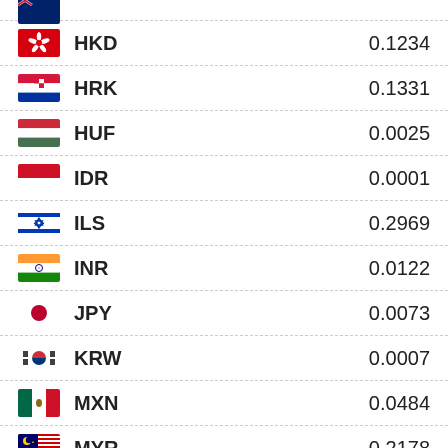HKD 0.1234
HRK 0.1331
HUF 0.0025
IDR 0.0001
ILS 0.2969
INR 0.0122
JPY 0.0073
KRW 0.0007
MXN 0.0484
MYR 0.2178